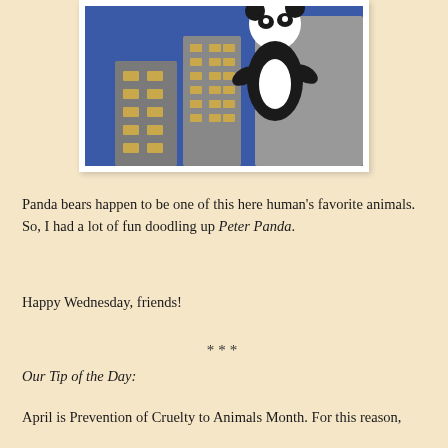[Figure (illustration): Illustration of a cartoon panda bear (Peter Panda) standing in front of a city skyline with skyscrapers on a blue background. The artwork appears to be a hand-drawn or doodled piece.]
Panda bears happen to be one of this here human's favorite animals. So, I had a lot of fun doodling up Peter Panda.
Happy Wednesday, friends!
***
Our Tip of the Day:
April is Prevention of Cruelty to Animals Month. For this reason,